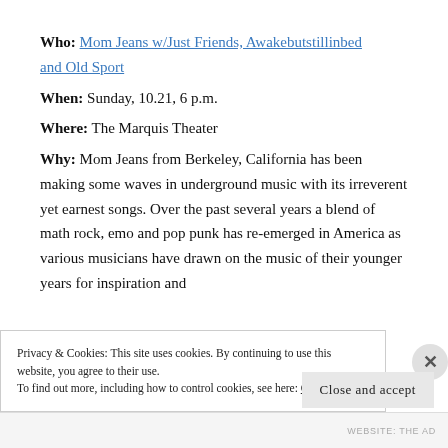Who: Mom Jeans w/Just Friends, Awakebutstillinbed and Old Sport
When: Sunday, 10.21, 6 p.m.
Where: The Marquis Theater
Why: Mom Jeans from Berkeley, California has been making some waves in underground music with its irreverent yet earnest songs. Over the past several years a blend of math rock, emo and pop punk has re-emerged in America as various musicians have drawn on the music of their younger years for inspiration and
Privacy & Cookies: This site uses cookies. By continuing to use this website, you agree to their use. To find out more, including how to control cookies, see here: Cookie Policy
Close and accept